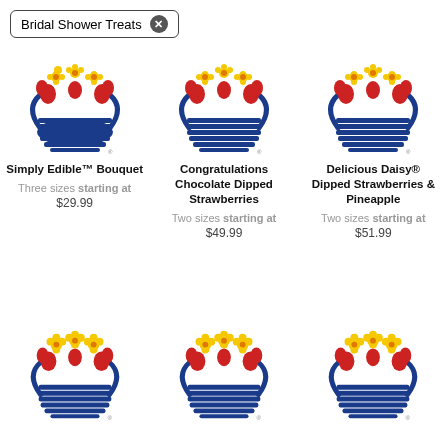Bridal Shower Treats  x
[Figure (logo): Edible Arrangements fruit bouquet logo - basket with flowers and strawberries]
Simply Edible™ Bouquet
Three sizes starting at
$29.99
[Figure (logo): Edible Arrangements fruit bouquet logo - basket with flowers and strawberries]
Congratulations Chocolate Dipped Strawberries
Two sizes starting at
$49.99
[Figure (logo): Edible Arrangements fruit bouquet logo - basket with flowers and strawberries]
Delicious Daisy® Dipped Strawberries & Pineapple
Two sizes starting at
$51.99
[Figure (logo): Edible Arrangements fruit bouquet logo - basket with flowers and strawberries]
[Figure (logo): Edible Arrangements fruit bouquet logo - basket with flowers and strawberries]
[Figure (logo): Edible Arrangements fruit bouquet logo - basket with flowers and strawberries]